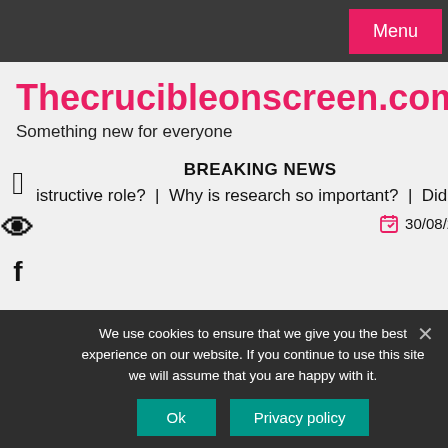Menu
Thecrucibleonscreen.com
Something new for everyone
BREAKING NEWS
istructive role? | Why is research so important? | Did Achi
30/08/2022
[Figure (other): Social media icons: Facebook, Twitter, WhatsApp, Messenger, Telegram, Email, Reddit]
We use cookies to ensure that we give you the best experience on our website. If you continue to use this site we will assume that you are happy with it.
Ok
Privacy policy